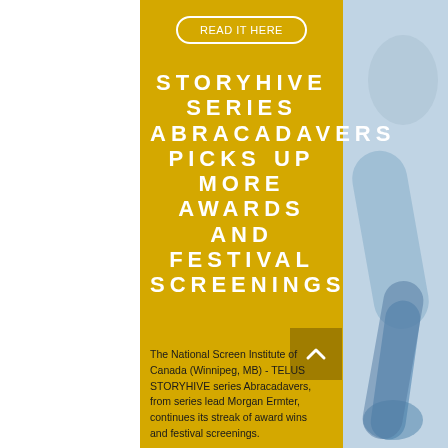READ IT HERE
STORYHIVE SERIES ABRACADAVERS PICKS UP MORE AWARDS AND FESTIVAL SCREENINGS
[Figure (illustration): Back-to-top arrow button, dark gold/brown square with upward chevron arrow in white]
The National Screen Institute of Canada (Winnipeg, MB) - TELUS STORYHIVE series Abracadavers, from series lead Morgan Ermter, continues its streak of award wins and festival screenings.
[Figure (photo): Right side partial photo of a person, blue-toned background, arm/figure visible]